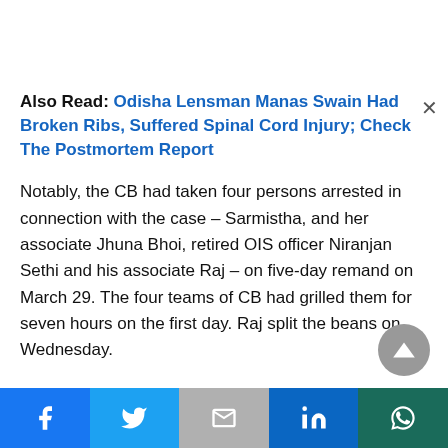Also Read: Odisha Lensman Manas Swain Had Broken Ribs, Suffered Spinal Cord Injury; Check The Postmortem Report
Notably, the CB had taken four persons arrested in connection with the case – Sarmistha, and her associate Jhuna Bhoi, retired OIS officer Niranjan Sethi and his associate Raj – on five-day remand on March 29. The four teams of CB had grilled them for seven hours on the first day. Raj split the beans on Wednesday.